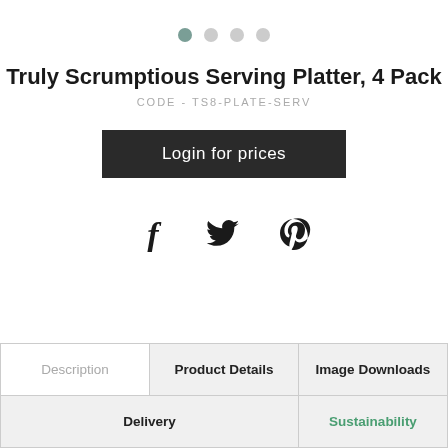[Figure (other): Pagination dots: one active (dark teal), three inactive (light gray)]
Truly Scrumptious Serving Platter, 4 Pack
CODE - TS8-PLATE-SERV
Login for prices
[Figure (other): Social media icons: Facebook (f), Twitter (bird), Pinterest (p)]
| Description | Product Details | Image Downloads |
| --- | --- | --- |
| Delivery |  | Sustainability |